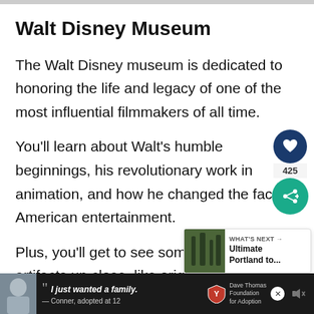Walt Disney Museum
The Walt Disney museum is dedicated to honoring the life and legacy of one of the most influential filmmakers of all time.
You'll learn about Walt's humble beginnings, his revolutionary work in animation, and how he changed the face of American entertainment.
Plus, you'll get to see some incredible artifacts up close, like original sketches and
[Figure (infographic): Social media sidebar with heart/like button (dark blue circle), count label showing 425, and share button (teal circle with share icon)]
[Figure (infographic): What's Next card with forest thumbnail image, label 'WHAT'S NEXT →', and text 'Ultimate Portland to...']
[Figure (infographic): Bottom advertisement bar with photo of a young man, large quotation marks, text 'I just wanted a family. — Conner, adopted at 12', Dave Thomas Foundation for Adoption logo, close button X, and mute/sound icon]